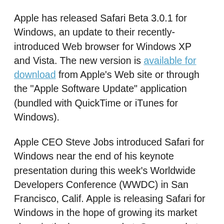Apple has released Safari Beta 3.0.1 for Windows, an update to their recently-introduced Web browser for Windows XP and Vista. The new version is available for download from Apple's Web site or through the “Apple Software Update” application (bundled with QuickTime or iTunes for Windows).
Apple CEO Steve Jobs introduced Safari for Windows near the end of his keynote presentation during this week’s Worldwide Developers Conference (WWDC) in San Francisco, Calif. Apple is releasing Safari for Windows in the hope of growing its market share in the browser market. Some market research pegs Safari in third place behind Firefox, with only the Macintosh market using it.
“Apple issued an update to the Safari for Windows